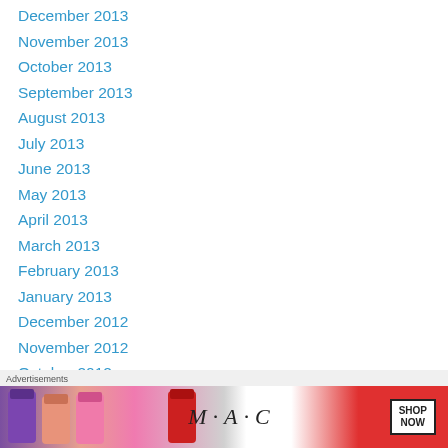December 2013
November 2013
October 2013
September 2013
August 2013
July 2013
June 2013
May 2013
April 2013
March 2013
February 2013
January 2013
December 2012
November 2012
October 2012
September 2012
[Figure (other): MAC cosmetics advertisement banner showing lipsticks with MAC logo and SHOP NOW button]